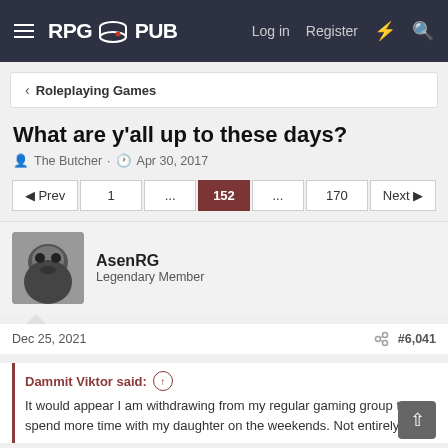RPGPub — Log in  Register
< Roleplaying Games
What are y'all up to these days?
The Butcher · Apr 30, 2017
◄ Prev  1  ...  152  ...  170  Next ►
AsenRG
Legendary Member
Dec 25, 2021   #6,041
Dammit Viktor said: ↑

It would appear I am withdrawing from my regular gaming group to spend more time with my daughter on the weekends. Not entirely